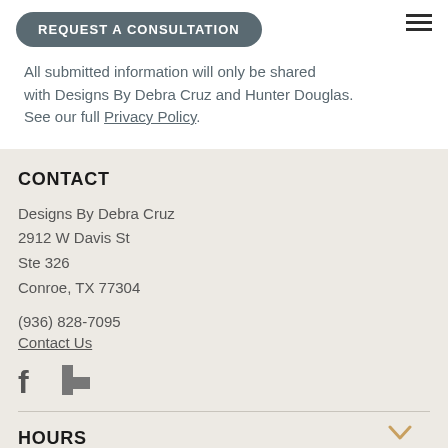REQUEST A CONSULTATION
All submitted information will only be shared with Designs By Debra Cruz and Hunter Douglas. See our full Privacy Policy.
CONTACT
Designs By Debra Cruz
2912 W Davis St
Ste 326
Conroe, TX 77304
(936) 828-7095
Contact Us
[Figure (illustration): Facebook and Houzz social media icons]
HOURS